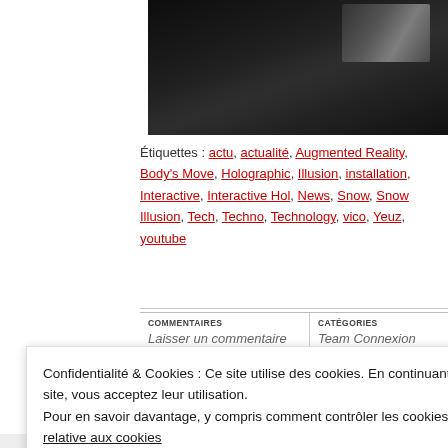[Figure (photo): Dark photograph, partially visible, showing a dark scene with some reflective or illuminated elements in the upper right area.]
Étiquettes : actu, actualité, Augmented Reality, Body's Move, Holographic, Illusion, installation, Interactive, Interactive Hol, News, Snow, Snow Illusion, Tech, Techno, Technology, vico, Yeuz, youtube
| COMMENTAIRES | CATÉGORIES |
| --- | --- |
| Laisser un commentaire | Team Connexion |
Confidentialité & Cookies : Ce site utilise des cookies. En continuant à utiliser ce site, vous acceptez leur utilisation.
Pour en savoir davantage, y compris comment contrôler les cookies, voir : Politique relative aux cookies
Fermer et accepter